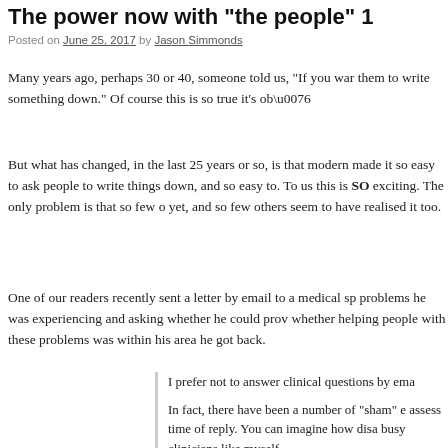The power now with "the people" 1
Posted on June 25, 2017 by Jason Simmonds
Many years ago, perhaps 30 or 40, someone told us, “If you war them to write something down.” Of course this is so true it’s obv
But what has changed, in the last 25 years or so, is that modern made it so easy to ask people to write things down, and so easy to. To us this is SO exciting. The only problem is that so few o yet, and so few others seem to have realised it too.
One of our readers recently sent a letter by email to a medical sp problems he was experiencing and asking whether he could prov whether helping people with these problems was within his area he got back.
I prefer not to answer clinical questions by ema
In fact, there have been a number of "sham" e assess time of reply. You can imagine how disa busy clinicians like myself.